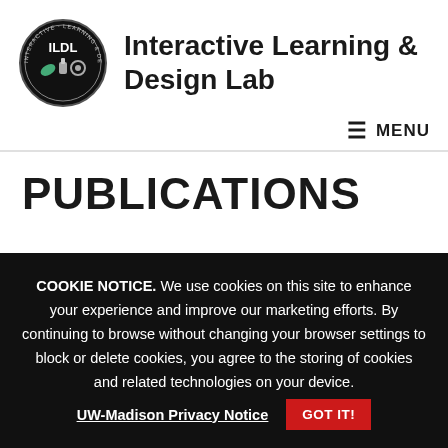Interactive Learning & Design Lab
PUBLICATIONS
COOKIE NOTICE. We use cookies on this site to enhance your experience and improve our marketing efforts. By continuing to browse without changing your browser settings to block or delete cookies, you agree to the storing of cookies and related technologies on your device. UW-Madison Privacy Notice GOT IT!